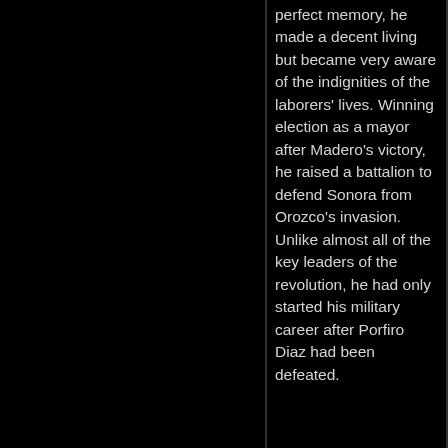perfect memory, he made a decent living but became very aware of the indignities of the laborers' lives. Winning election as a mayor after Madero's victory, he raised a battalion to defend Sonora from Orozco's invasion. Unlike almost all of the key leaders of the revolution, he had only started his military career after Porfiro Diaz had been defeated.